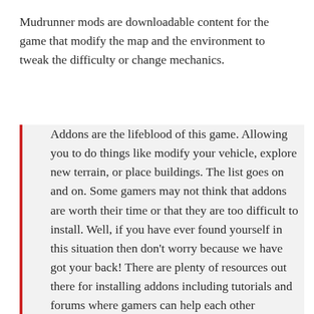Mudrunner mods are downloadable content for the game that modify the map and the environment to tweak the difficulty or change mechanics.
Addons are the lifeblood of this game. Allowing you to do things like modify your vehicle, explore new terrain, or place buildings. The list goes on and on. Some gamers may not think that addons are worth their time or that they are too difficult to install. Well, if you have ever found yourself in this situation then don't worry because we have got your back! There are plenty of resources out there for installing addons including tutorials and forums where gamers can help each other